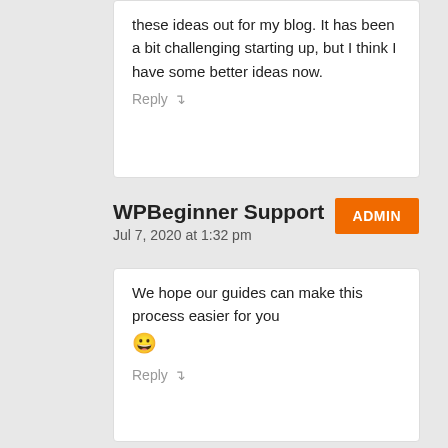these ideas out for my blog. It has been a bit challenging starting up, but I think I have some better ideas now.
Reply ↵
WPBeginner Support
ADMIN
Jul 7, 2020 at 1:32 pm
We hope our guides can make this process easier for you 😀
Reply ↵